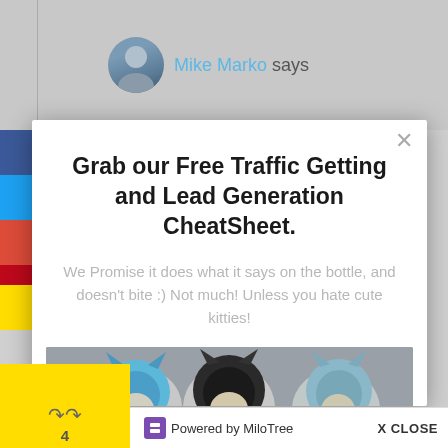[Figure (screenshot): Screenshot of a website with a popup modal. Background shows a blog page with Mike Marko says header and social share sidebar. A white modal popup contains a headline, subtext, and an image of three cats wearing knitted hoods.]
Grab our Free Traffic Getting and Lead Generation CheatSheet.
We Promise it does what it says on the bottle, and doesn't bite :) Not much! Unless you hate cute kitties!
[Figure (photo): Three cats wearing knitted hooded scarves — one blue, one black, one blue-grey striped.]
Powered by MiloTree   X CLOSE